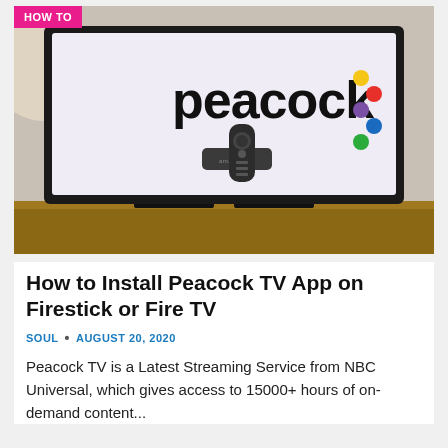[Figure (photo): A television screen displaying the Peacock logo with colorful dots, with a Fire TV Stick and its remote placed in front of the screen on a wooden surface. A 'HOW TO' badge is overlaid in the top-left corner of the image.]
How to Install Peacock TV App on Firestick or Fire TV
SOUL • AUGUST 20, 2020
Peacock TV is a Latest Streaming Service from NBC Universal, which gives access to 15000+ hours of on-demand content...